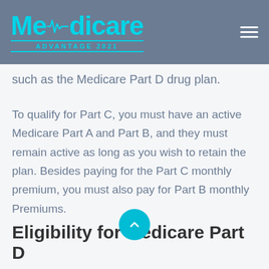Medicare Advantage 2021
such as the Medicare Part D drug plan.
To qualify for Part C, you must have an active Medicare Part A and Part B, and they must remain active as long as you wish to retain the plan. Besides paying for the Part C monthly premium, you must also pay for Part B monthly Premiums.
Eligibility for Medicare Part D